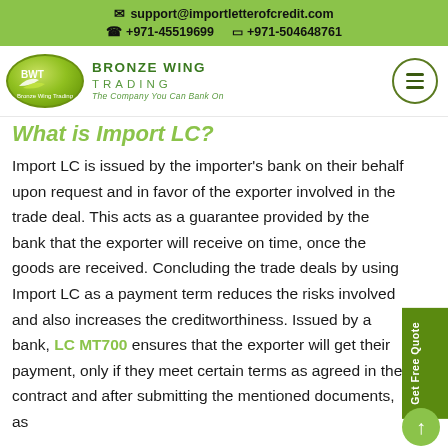support@importletterofcredit.com  +971-45519699  +971-504648761
[Figure (logo): Bronze Wing Trading logo with green oval shape, bird/leaf icon, company name and tagline 'The Company You Can Bank On']
What is Import LC?
Import LC is issued by the importer's bank on their behalf upon request and in favor of the exporter involved in the trade deal. This acts as a guarantee provided by the bank that the exporter will receive on time, once the goods are received. Concluding the trade deals by using Import LC as a payment term reduces the risks involved and also increases the creditworthiness. Issued by a bank, LC MT700 ensures that the exporter will get their payment, only if they meet certain terms as agreed in the contract and after submitting the mentioned documents, as